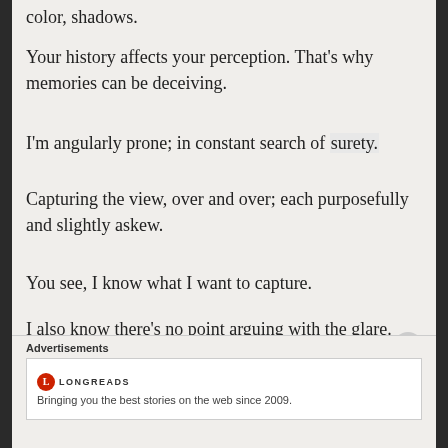color, shadows.
Your history affects your perception. That’s why memories can be deceiving.
I’m angularly prone; in constant search of surety.
Capturing the view, over and over; each purposefully and slightly askew.
You see, I know what I want to capture.
I also know there’s no point arguing with the glare.
I adjust: move, stretch, lean, bank, zoom-in, zoom-out, in increments, some miniscule
Advertisements
[Figure (other): Longreads advertisement banner with logo and tagline: Bringing you the best stories on the web since 2009.]